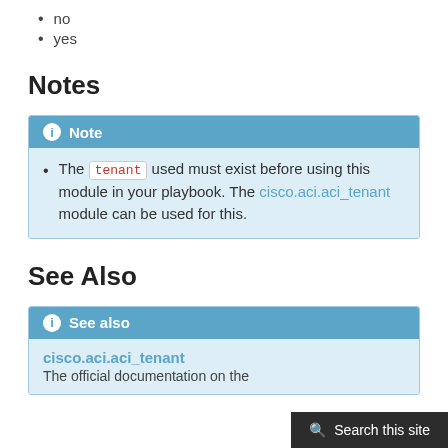no
yes
Notes
Note — The tenant used must exist before using this module in your playbook. The cisco.aci.aci_tenant module can be used for this.
See Also
See also — cisco.aci.aci_tenant — The official documentation on the
Search this site